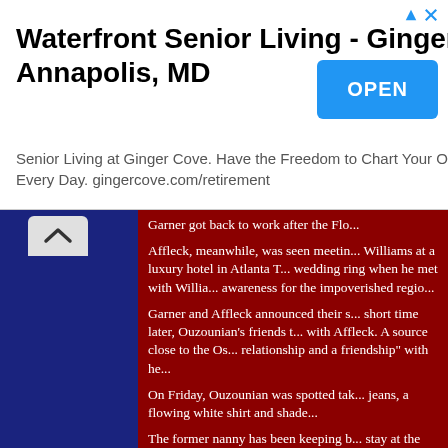[Figure (other): Advertisement banner for Waterfront Senior Living - Ginger Cove - Annapolis, MD with an OPEN button]
[Figure (other): Left dark blue panel with a chevron up arrow button at the top, set against a dark red background]
Garner got back to work after the Flo...
Affleck, meanwhile, was seen meeting Williams at a luxury hotel in Atlanta T... wedding ring when he met with Willia... awareness for the impoverished regio...
Garner and Affleck announced their s... short time later, Ouzounian's friends t... with Affleck. A source close to the Os... relationship and a friendship" with he...
On Friday, Ouzounian was spotted tak... jeans, a flowing white shirt and shade...
The former nanny has been keeping b... stay at the swanky Hotel Bel-Air, she'... Southern California and sporting a bik... week.